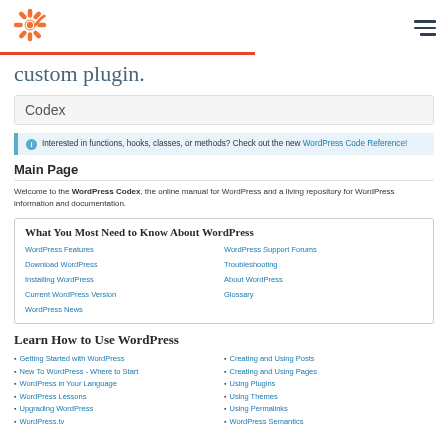HubSpot logo and hamburger menu
custom plugin.
Codex
Interested in functions, hooks, classes, or methods? Check out the new WordPress Code Reference!
Main Page
Welcome to the WordPress Codex, the online manual for WordPress and a living repository for WordPress information and documentation.
What You Most Need to Know About WordPress
WordPress Features
Download WordPress
Installing WordPress
Current WordPress Version
WordPress News
WordPress Support Forums
Troubleshooting
About WordPress
Glossary
Learn How to Use WordPress
Getting Started with WordPress
New To WordPress - Where to Start
WordPress in Your Language
WordPress Lessons
Upgrading WordPress
WordPress.tv
Creating and Using Posts
Creating and Using Pages
Using Plugins
Using Themes
Using Permalinks
WordPress Semantics